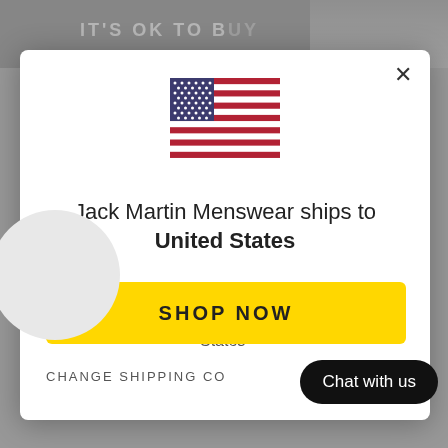[Figure (screenshot): Background page with greyed-out content, partially visible image strip at top with text 'IT'S OK TO BUY']
[Figure (illustration): US flag SVG centered at top of modal]
Jack Martin Menswear ships to United States
in GBP £
shipping options for United States
SHOP NOW
CHANGE SHIPPING CO
[Figure (illustration): Coupon/discount tag icon in circular frame with gradient border and badge showing '1']
Chat with us